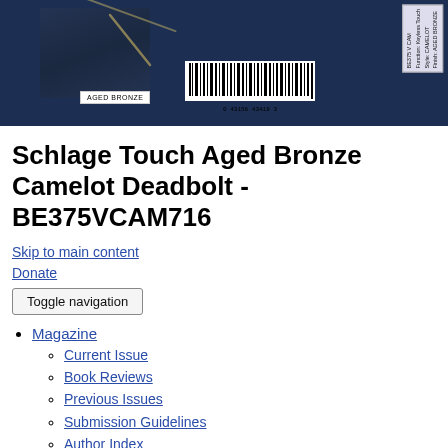[Figure (photo): Product package back showing barcode (0 43156 43418 3), AGED BRONZE label, and product info box with BE375 V CAM, Function: Keyless Touch, Style: CAMELOT, Finish: AGED BRONZE on a dark navy background]
Schlage Touch Aged Bronze Camelot Deadbolt - BE375VCAM716
Skip to main content
Donate
Toggle navigation
Magazine
Current Issue
Book Reviews
Previous Issues
Submission Guidelines
Author Index
Translator Index
WLT Weekly
Subscribe